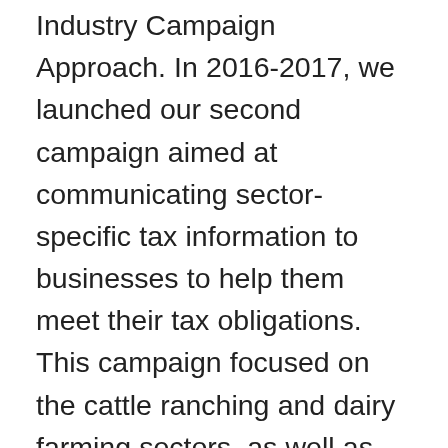Industry Campaign Approach. In 2016-2017, we launched our second campaign aimed at communicating sector-specific tax information to businesses to help them meet their tax obligations. This campaign focused on the cattle ranching and dairy farming sectors, as well as the child daycare services sector. Engagements with industry associations in these areas involved the identification of tax concerns specific to each. We also sought input from these sectors about what information we should include in various communications products directed to consumers as well as that